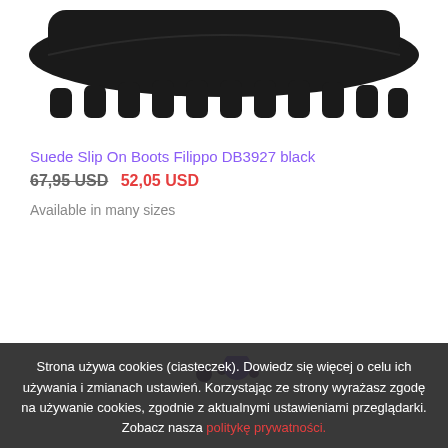[Figure (photo): Bottom/sole view of a black suede slip on boot (Filippo DB3927) against white background, showing chunky dark rubber sole with tread pattern]
Suede Slip On Boots Filippo DB3927 black
67,95 USD  52,05 USD
Available in many sizes
Strona używa cookies (ciasteczek). Dowiedz się więcej o celu ich używania i zmianach ustawień. Korzystając ze strony wyrażasz zgodę na używanie cookies, zgodnie z aktualnymi ustawieniami przeglądarki. Zobacz nasza politykę prywatności.